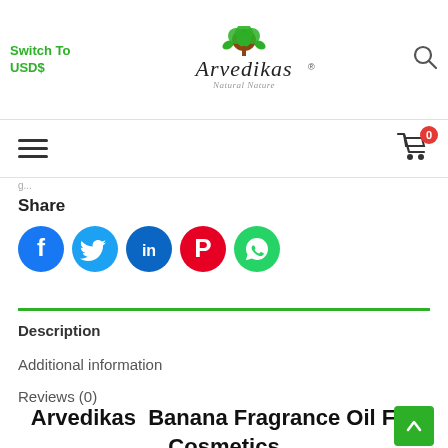Switch To USD$  |  Arvedikas  |  Search
Hamburger menu | Cart (0)
Share
[Figure (infographic): Social media share icons: Facebook (blue), Twitter (light blue), LinkedIn (dark blue), Pinterest (red), WhatsApp (green)]
Description
Additional information
Reviews (0)
Arvedikas  Banana Fragrance Oil For Cosmetics